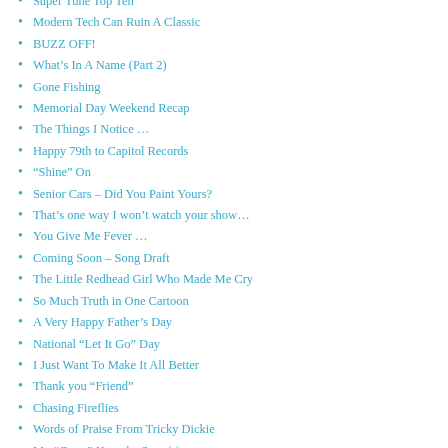Super Tune Top Ten
Modern Tech Can Ruin A Classic
BUZZ OFF!
What's In A Name (Part 2)
Gone Fishing
Memorial Day Weekend Recap
The Things I Notice …
Happy 79th to Capitol Records
“Shine” On
Senior Cars – Did You Paint Yours?
That’s one way I won’t watch your show…
You Give Me Fever …
Coming Soon – Song Draft
The Little Redhead Girl Who Made Me Cry
So Much Truth in One Cartoon
A Very Happy Father’s Day
National “Let It Go” Day
I Just Want To Make It All Better
Thank you “Friend”
Chasing Fireflies
Words of Praise From Tricky Dickie
My “Go to” Karaoke Song(s)
Remember R-R-R-Raw Power?
A Quiet Fourth & Song Draft Update